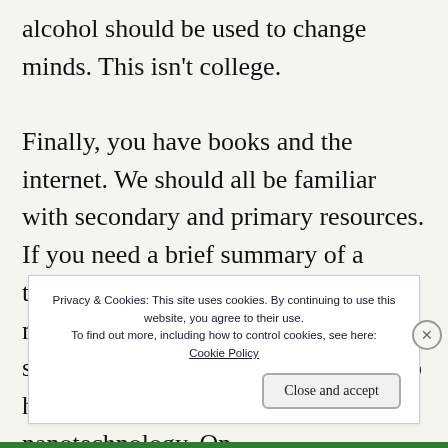alcohol should be used to change minds. This isn't college.

Finally, you have books and the internet. We should all be familiar with secondary and primary resources. If you need a brief summary of a topic, go for a secondary. You don't need to learn about physics to write science fiction, but it sure does help to have a broad overview of nanotechnology. On t... c... w...
Privacy & Cookies: This site uses cookies. By continuing to use this website, you agree to their use.
To find out more, including how to control cookies, see here:
Cookie Policy
Close and accept